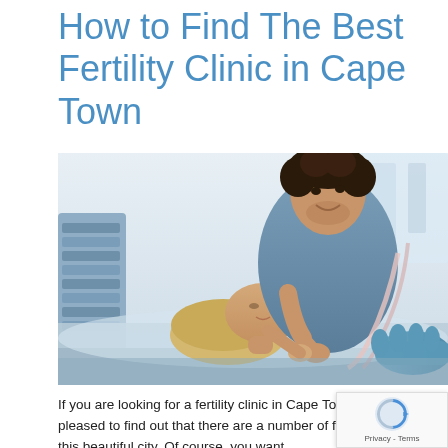How to Find The Best Fertility Clinic in Cape Town
[Figure (photo): A man and a woman in a medical setting; the woman is lying on a medical table undergoing an ultrasound or fertility procedure, while the man holds her hand supportively. A medical professional with blue gloves is visible on the right.]
If you are looking for a fertility clinic in Cape Town, you will be pleased to find out that there are a number of fertility clinics in this beautiful city. Of course, you want